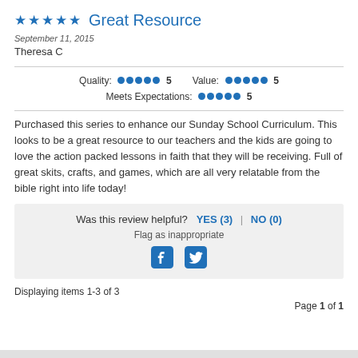★★★★★  Great Resource
September 11, 2015
Theresa C
Quality: ●●●●● 5   Value: ●●●●● 5   Meets Expectations: ●●●●● 5
Purchased this series to enhance our Sunday School Curriculum. This looks to be a great resource to our teachers and the kids are going to love the action packed lessons in faith that they will be receiving. Full of great skits, crafts, and games, which are all very relatable from the bible right into life today!
Was this review helpful? YES (3) | NO (0)
Flag as inappropriate
Displaying items 1-3 of 3
Page 1 of 1